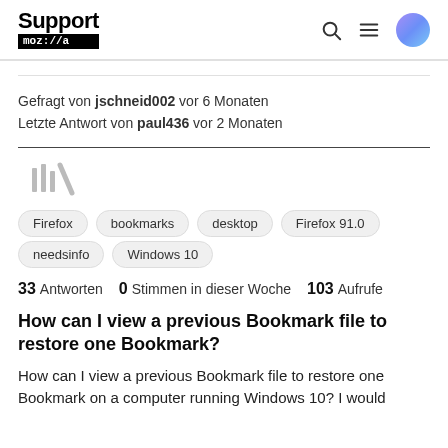Support mozilla
Gefragt von jschneid002 vor 6 Monaten
Letzte Antwort von paul436 vor 2 Monaten
[Figure (illustration): Library/bookmarks icon (stylized vertical bars)]
Firefox
bookmarks
desktop
Firefox 91.0
needsinfo
Windows 10
33 Antworten  0 Stimmen in dieser Woche  103 Aufrufe
How can I view a previous Bookmark file to restore one Bookmark?
How can I view a previous Bookmark file to restore one Bookmark on a computer running Windows 10? I would